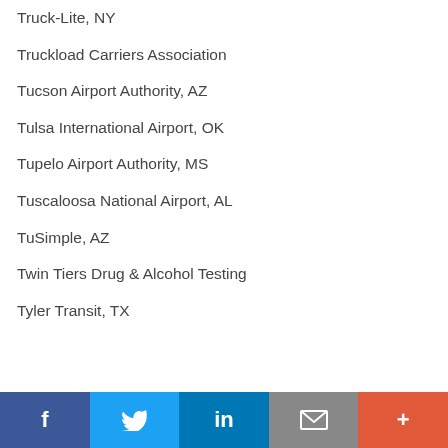Truck-Lite, NY
Truckload Carriers Association
Tucson Airport Authority, AZ
Tulsa International Airport, OK
Tupelo Airport Authority, MS
Tuscaloosa National Airport, AL
TuSimple, AZ
Twin Tiers Drug & Alcohol Testing
Tyler Transit, TX
f  [twitter]  in  [mail]  +